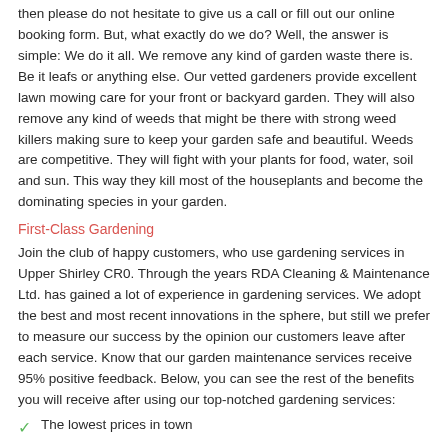then please do not hesitate to give us a call or fill out our online booking form. But, what exactly do we do? Well, the answer is simple: We do it all. We remove any kind of garden waste there is. Be it leafs or anything else. Our vetted gardeners provide excellent lawn mowing care for your front or backyard garden. They will also remove any kind of weeds that might be there with strong weed killers making sure to keep your garden safe and beautiful. Weeds are competitive. They will fight with your plants for food, water, soil and sun. This way they kill most of the houseplants and become the dominating species in your garden.
First-Class Gardening
Join the club of happy customers, who use gardening services in Upper Shirley CR0. Through the years RDA Cleaning & Maintenance Ltd. has gained a lot of experience in gardening services. We adopt the best and most recent innovations in the sphere, but still we prefer to measure our success by the opinion our customers leave after each service. Know that our garden maintenance services receive 95% positive feedback. Below, you can see the rest of the benefits you will receive after using our top-notched gardening services:
The lowest prices in town